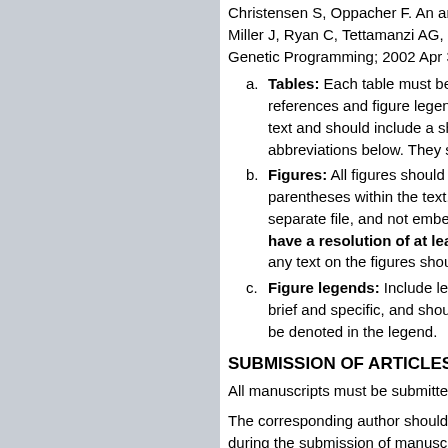Christensen S, Oppacher F. An analysis... Miller J, Ryan C, Tettamanzi AG, edit... Genetic Programming; 2002 Apr 3-5; K...
a. Tables: Each table must be type... references and figure legends. Ta... text and should include a sho... abbreviations below. They shoul...
b. Figures: All figures should be... parentheses within the text. Ar... separate file, and not embedded... have a resolution of at least 60... any text on the figures should be...
c. Figure legends: Include legend... brief and specific, and should in... be denoted in the legend.
SUBMISSION OF ARTICLES
All manuscripts must be submitted on-l...
The corresponding author should comp... during the submission of manuscript.
SUBMISSION CHECKLIST
1. Copyright transfer form (to be fi...
2. Cover letter.